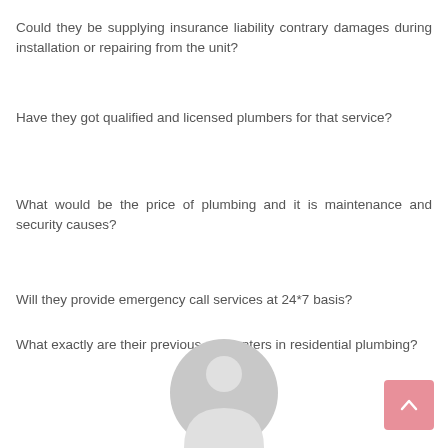Could they be supplying insurance liability contrary damages during installation or repairing from the unit?
Have they got qualified and licensed plumbers for that service?
What would be the price of plumbing and it is maintenance and security causes?
Will they provide emergency call services at 24*7 basis?
What exactly are their previous encounters in residential plumbing?
[Figure (illustration): Generic user avatar icon (grey circular silhouette with person shape) at bottom center of page, partially cut off]
[Figure (other): Pink/salmon colored scroll-to-top button with an upward-pointing chevron arrow, positioned at bottom right]